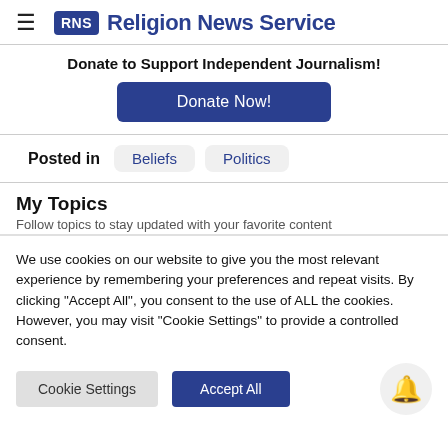≡ RNS Religion News Service
Donate to Support Independent Journalism!
[Figure (other): Donate Now! button (blue rounded rectangle)]
Posted in   Beliefs   Politics
My Topics
Follow topics to stay updated with your favorite content
We use cookies on our website to give you the most relevant experience by remembering your preferences and repeat visits. By clicking "Accept All", you consent to the use of ALL the cookies. However, you may visit "Cookie Settings" to provide a controlled consent.
[Figure (other): Cookie Settings button and Accept All button, plus bell notification icon]